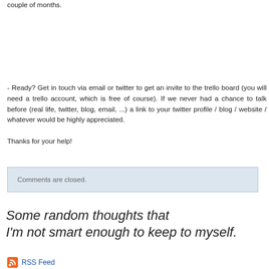couple of months.
- Ready? Get in touch via email or twitter to get an invite to the trello board (you will need a trello account, which is free of course). If we never had a chance to talk before (real life, twitter, blog, email, ...) a link to your twitter profile / blog / website / whatever would be highly appreciated.
Thanks for your help!
Comments are closed.
Some random thoughts that I'm not smart enough to keep to myself.
RSS Feed